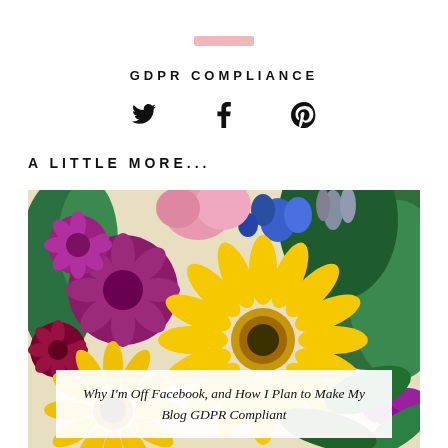[Figure (other): Small pink/rose colored rectangular tag bar graphic]
GDPR COMPLIANCE
[Figure (other): Three social media icons: Twitter bird, Facebook f, Pinterest P, displayed horizontally]
A LITTLE MORE...
[Figure (photo): Close-up photograph of a colorful flower bouquet featuring yellow gerbera daisies, purple/magenta chrysanthemums, pink flowers, blue flowers, and green foliage]
Why I'm Off Facebook, and How I Plan to Make My Blog GDPR Compliant